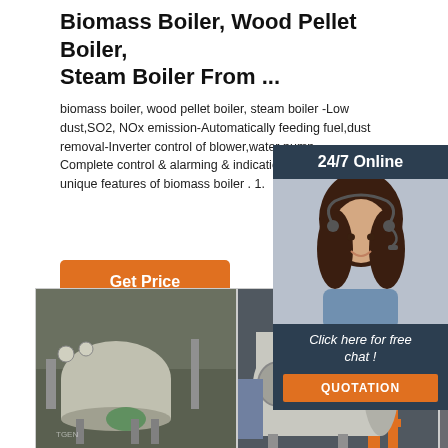Biomass Boiler, Wood Pellet Boiler, Steam Boiler From ...
biomass boiler, wood pellet boiler, steam boiler -Low dust,SO2, NOx emission-Automatically feeding fuel,dust removal-Inverter control of blower,water pump-Complete control & alarming & indication system-unique features of biomass boiler . 1.
Get Price
[Figure (photo): Customer support representative with headset, 24/7 Online sidebar widget with Click here for free chat and QUOTATION button]
[Figure (photo): Industrial biomass boiler equipment photo 1]
[Figure (photo): Industrial biomass boiler equipment photo 2]
[Figure (photo): Industrial biomass boiler equipment photo 3]